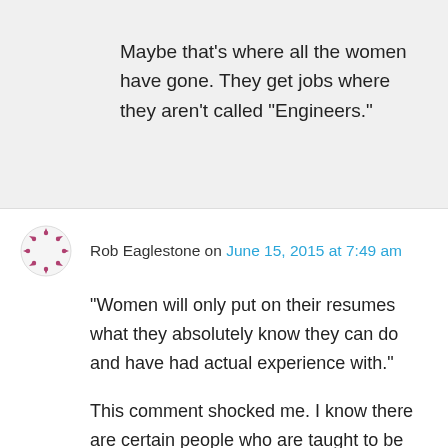Maybe that’s where all the women have gone. They get jobs where they aren’t called “Engineers.”
Rob Eaglestone on June 15, 2015 at 7:49 am
“Women will only put on their resumes what they absolutely know they can do and have had actual experience with.”
This comment shocked me. I know there are certain people who are taught to be unscrupulous with their resume in order to land an interview, but surely all professionals do exactly as you say above? But then I realized